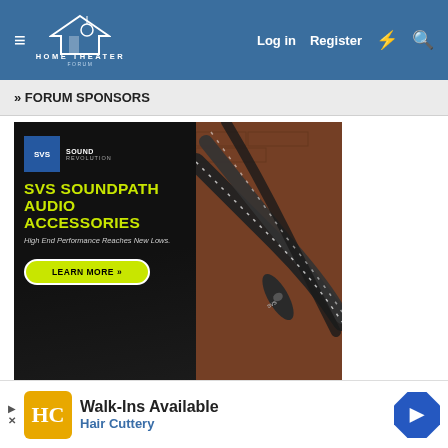HOME THEATER FORUM — Log in | Register
» FORUM SPONSORS
[Figure (photo): SVS SoundPath Audio Accessories advertisement banner. Left side: dark background with SVS Sound Revolution logo, headline 'SVS SOUNDPATH AUDIO ACCESSORIES', tagline 'High End Performance Reaches New Lows.', and a yellow-green 'LEARN MORE >>' button. Right side: close-up photo of braided audio cables and connectors against a brick background.]
» SIMILAR THREADS
Pre-Order  Blu-ray/4K UHD Pre-Order Listing!
UV/iTun...
UV/iTun...
[Figure (screenshot): Hair Cuttery Walk-Ins Available advertisement banner at the bottom of the page. Features orange HC logo, text 'Walk-Ins Available' and 'Hair Cuttery' in blue, and a blue navigation diamond arrow icon.]